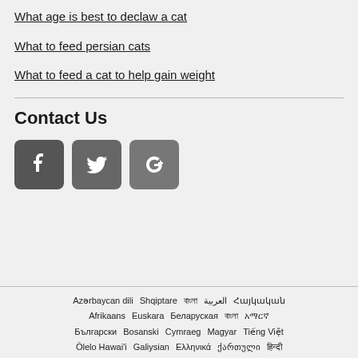What age is best to declaw a cat
What to feed persian cats
What to feed a cat to help gain weight
Contact Us
[Figure (other): Social media icon buttons: Facebook, Twitter, Google+]
Azərbaycan dili  Shqiptare  বাংলা  العربية  Հայկական  Afrikaans  Euskara  Беларуская  বাংলা  አማርኛ  Български  Bosanski  Cymraeg  Magyar  Tiếng Việt  Ōlelo Hawai'i  Galiysian  Ελληνικά  ქართული  हिन्दी